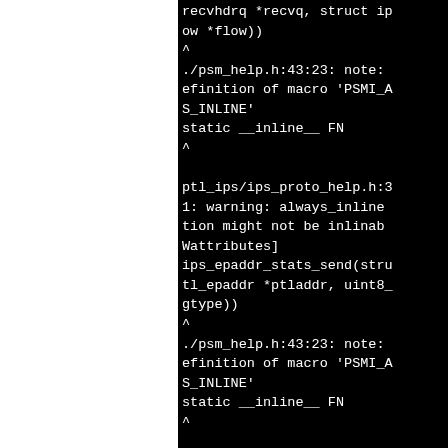[Figure (screenshot): Terminal/console output showing compiler warnings. Left portion is white (blank), right portion is black background with white monospace text showing compiler warnings about always_inline and macro definitions for PSMI_AS_INLINE in psm_help.h and ptl_ips/ips_proto_help.h.]